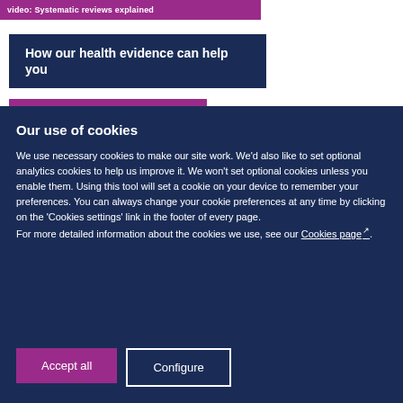video: Systematic reviews explained
How our health evidence can help you
Our use of cookies
We use necessary cookies to make our site work. We'd also like to set optional analytics cookies to help us improve it. We won't set optional cookies unless you enable them. Using this tool will set a cookie on your device to remember your preferences. You can always change your cookie preferences at any time by clicking on the 'Cookies settings' link in the footer of every page.
For more detailed information about the cookies we use, see our Cookies page.
Accept all
Configure